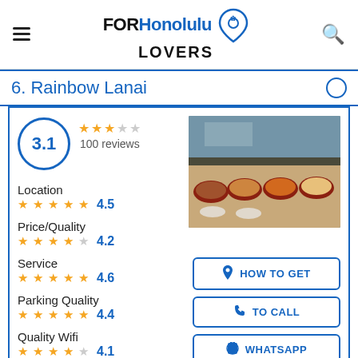[Figure (logo): FORHonolulu LOVERS logo with location pin icon]
6. Rainbow Lanai
3.1 — 100 reviews
[Figure (photo): Restaurant buffet with food dishes on counter]
Location ★★★★½ 4.5
Price/Quality ★★★★☆ 4.2
Service ★★★★½ 4.6
Parking Quality ★★★★½ 4.4
Quality Wifi ★★★★☆ 4.1
HOW TO GET
TO CALL
WHATSAPP